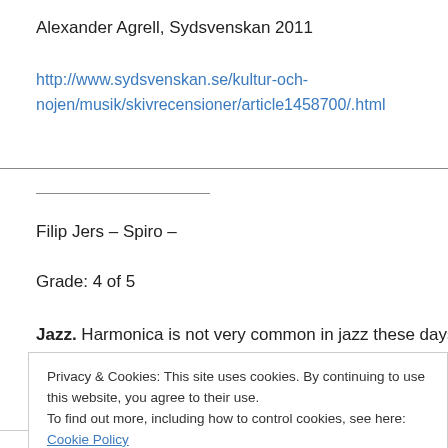Alexander Agrell, Sydsvenskan 2011
http://www.sydsvenskan.se/kultur-och-nojen/musik/skivrecensioner/article1458700/.html
Filip Jers – Spiro –
Grade: 4 of 5
Jazz. Harmonica is not very common in jazz these days. A
Privacy & Cookies: This site uses cookies. By continuing to use this website, you agree to their use.
To find out more, including how to control cookies, see here: Cookie Policy